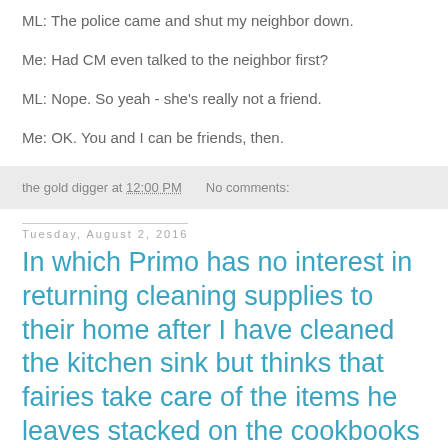ML: The police came and shut my neighbor down.
Me: Had CM even talked to the neighbor first?
ML: Nope. So yeah - she's really not a friend.
Me: OK. You and I can be friends, then.
the gold digger at 12:00 PM   No comments:
Tuesday, August 2, 2016
In which Primo has no interest in returning cleaning supplies to their home after I have cleaned the kitchen sink but thinks that fairies take care of the items he leaves stacked on the cookbooks